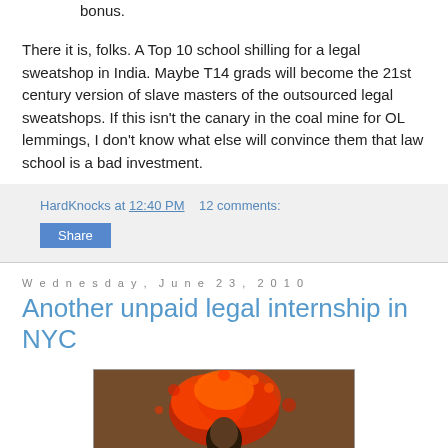bonus.
There it is, folks. A Top 10 school shilling for a legal sweatshop in India. Maybe T14 grads will become the 21st century version of slave masters of the outsourced legal sweatshops. If this isn't the canary in the coal mine for OL lemmings, I don't know what else will convince them that law school is a bad investment.
HardKnocks at 12:40 PM   12 comments:
Share
Wednesday, June 23, 2010
Another unpaid legal internship in NYC
[Figure (photo): A person with an explosion or burst of red/orange material around their head, appearing to be a comedic or dramatic image.]